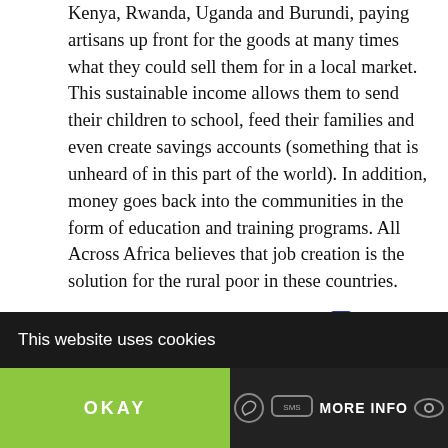Kenya, Rwanda, Uganda and Burundi, paying artisans up front for the goods at many times what they could sell them for in a local market. This sustainable income allows them to send their children to school, feed their families and even create savings accounts (something that is unheard of in this part of the world). In addition, money goes back into the communities in the form of education and training programs. All Across Africa believes that job creation is the solution for the rural poor in these countries. Check out their beautiful handmade and fair-trade goods here. You are bound to love the products and the amazing work All Across Africa is doing.
Here are some of the latest ideas for the holidays (all these items are handmade in Rwanda).
[Figure (photo): Two handmade woven items from Rwanda: a round woven basket/plate on the left and two decorative vase/bottle items in blue and red/white on the right, partially visible at the bottom of the page.]
This website uses cookies
OKAY    MORE INFO